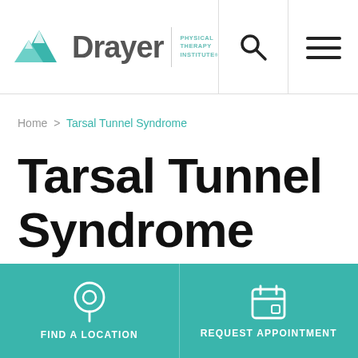[Figure (logo): Drayer Physical Therapy Institute logo with mountain peak icon]
Home > Tarsal Tunnel Syndrome
Tarsal Tunnel Syndrome
FIND A LOCATION
REQUEST APPOINTMENT